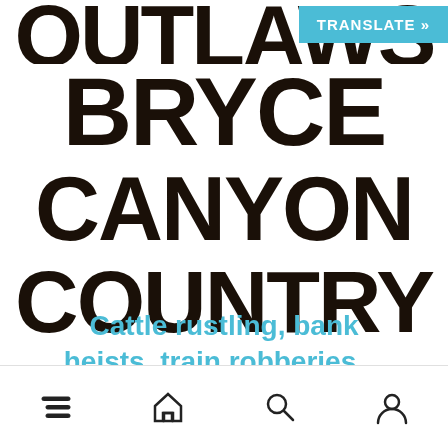OUTLAWS BRYCE CANYON COUNTRY
TRANSLATE »
Cattle rustling, bank heists, train robberies…
[Figure (other): Bottom navigation bar with menu, home, search, and profile icons]